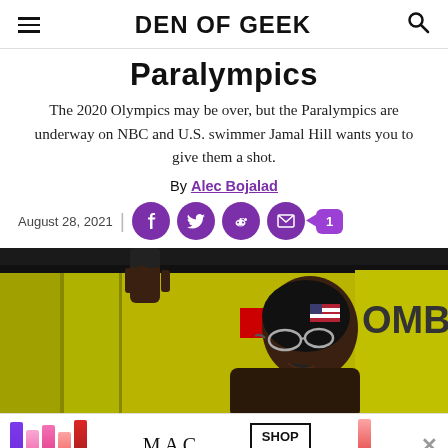DEN OF GEEK
Paralympics
The 2020 Olympics may be over, but the Paralympics are underway on NBC and U.S. swimmer Jamal Hill wants you to give them a shot.
By Alec Bojalad
August 28, 2021
[Figure (photo): A swimmer wearing a black swim cap with a US flag patch and swim goggles, gripping a lane divider rope, photographed at a pool competition.]
[Figure (infographic): MAC cosmetics advertisement showing colorful lipsticks with MAC logo and 'SHOP NOW' button.]